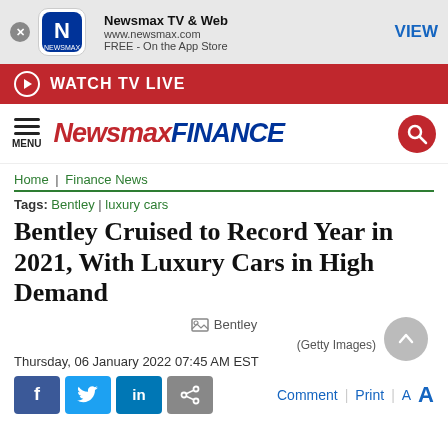[Figure (screenshot): Newsmax app banner with logo, app name 'Newsmax TV & Web', URL and App Store info, and VIEW button]
[Figure (screenshot): Red 'WATCH TV LIVE' bar with play icon]
[Figure (logo): Newsmax Finance logo with hamburger menu and search icon]
Home | Finance News
Tags: Bentley | luxury cars
Bentley Cruised to Record Year in 2021, With Luxury Cars in High Demand
Bentley (Getty Images)
Thursday, 06 January 2022 07:45 AM EST
[Figure (screenshot): Social share buttons: Facebook, Twitter, LinkedIn, share link; Comment, Print, font size controls]